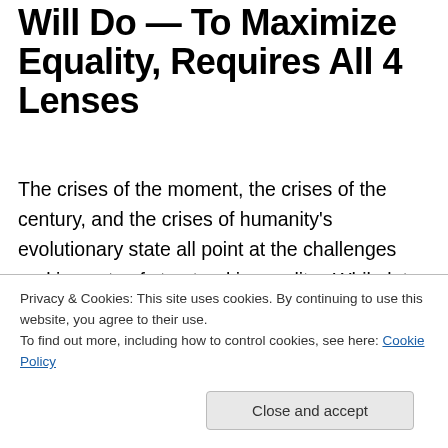Will Do — To Maximize Equality, Requires All 4 Lenses
The crises of the moment, the crises of the century, and the crises of humanity's evolutionary state all point at the challenges and impacts of structural inequality.  While lots of people are working on this now, many have been working on it for a long time, probably since the beginning of humanity.  To this huge challenge, we add two observations from econsynomics about what might create
Privacy & Cookies: This site uses cookies. By continuing to use this website, you agree to their use.
To find out more, including how to control cookies, see here: Cookie Policy